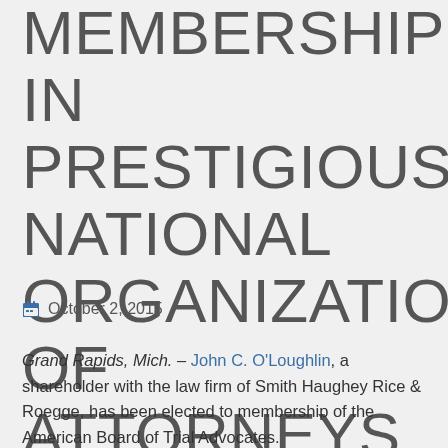MEMBERSHIP IN PRESTIGIOUS NATIONAL ORGANIZATION OF ATTORNEYS
October 2, 2015
Grand Rapids, Mich. – John C. O'Loughlin, a shareholder with the law firm of Smith Haughey Rice & Roegge, has been elected to membership of the American Board of Trial Advocates.